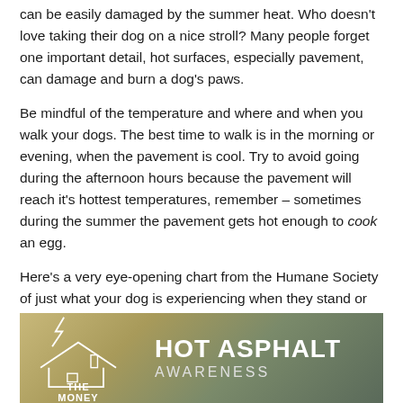can be easily damaged by the summer heat. Who doesn't love taking their dog on a nice stroll? Many people forget one important detail, hot surfaces, especially pavement, can damage and burn a dog's paws.
Be mindful of the temperature and where and when you walk your dogs. The best time to walk is in the morning or evening, when the pavement is cool. Try to avoid going during the afternoon hours because the pavement will reach it's hottest temperatures, remember – sometimes during the summer the pavement gets hot enough to cook an egg.
Here's a very eye-opening chart from the Humane Society of just what your dog is experiencing when they stand or walk on asphalt/ pavement in hot weather:
[Figure (infographic): Infographic with dark olive/khaki background showing a house logo on the left with 'THE MONEY' text, and on the right 'HOT ASPHALT' in large bold white text with 'AWARENESS' in smaller spaced white text below.]